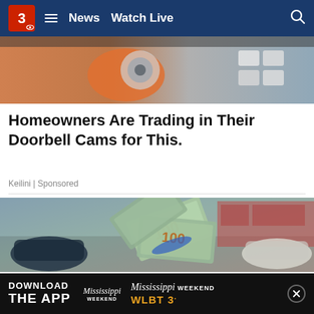3 | News | Watch Live
[Figure (photo): Close-up of a hand holding a circular security camera device with orange sleeve, with white cuboid hardware components in background]
Homeowners Are Trading in Their Doorbell Cams for This.
Keilini | Sponsored
[Figure (photo): A pile of US $100 dollar bills fanned out on top of a car hood, with a street scene of storefronts and parked vehicles in background]
DOWNLOAD THE APP | Mississippi WEEKEND | Mississippi WEEKEND WLBT 3